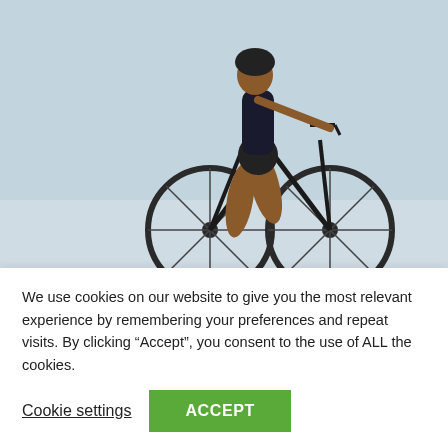[Figure (photo): A cyclist riding a road bike, viewed from above/front angle, on a light gray pavement background. The rider is wearing dark cycling gear.]
The Rene Herse Bon Jon Pass were also said to be faster than thinner road bike tires because their width gave them a lower rolling resistance which did not make sense
We use cookies on our website to give you the most relevant experience by remembering your preferences and repeat visits. By clicking “Accept”, you consent to the use of ALL the cookies.
Cookie settings
ACCEPT